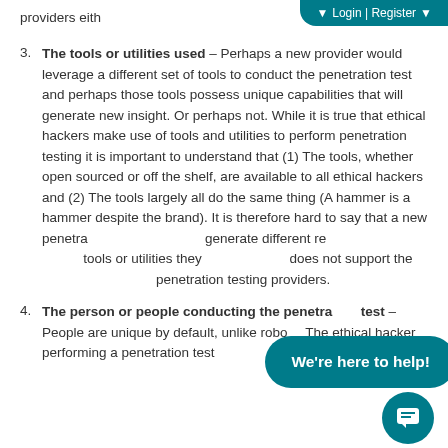providers eith
[Figure (screenshot): Login | Register dropdown button overlay in teal]
3. The tools or utilities used – Perhaps a new provider would leverage a different set of tools to conduct the penetration test and perhaps those tools possess unique capabilities that will generate new insight. Or perhaps not. While it is true that ethical hackers make use of tools and utilities to perform penetration testing it is important to understand that (1) The tools, whether open sourced or off the shelf, are available to all ethical hackers and (2) The tools largely all do the same thing (A hammer is a hammer despite the brand). It is therefore hard to say that a new penetration provider would generate different results based solely on the tools or utilities they use. This fact does not support the switching between penetration testing providers.
4. The person or people conducting the penetration test – People are unique by default, unlike robots. The ethical hacker performing a penetration test
[Figure (other): Teal chat bubble overlay saying 'We're here to help!' with a chat icon button below it]